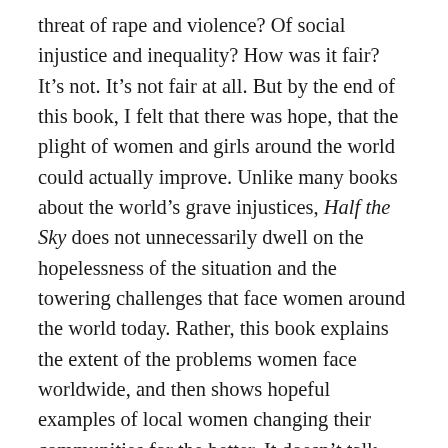threat of rape and violence? Of social injustice and inequality? How was it fair? It's not. It's not fair at all. But by the end of this book, I felt that there was hope, that the plight of women and girls around the world could actually improve. Unlike many books about the world's grave injustices, Half the Sky does not unnecessarily dwell on the hopelessness of the situation and the towering challenges that face women around the world today. Rather, this book explains the extent of the problems women face worldwide, and then shows hopeful examples of local women changing their communities for the better. It doesn't talk about what rich Americans can do to swoop in, presumptuously thinking they can fix another country's problems. Rather, the book focuses